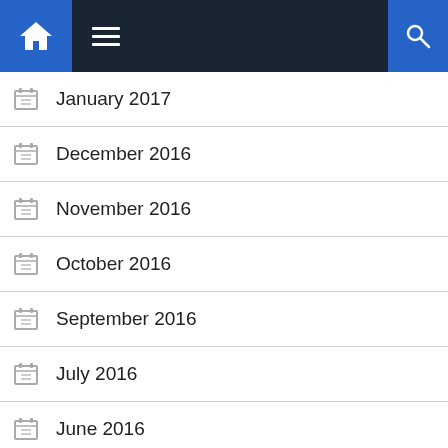Navigation bar with home icon, hamburger menu, and search icon
January 2017
December 2016
November 2016
October 2016
September 2016
July 2016
June 2016
May 2016
April 2016
March 2016